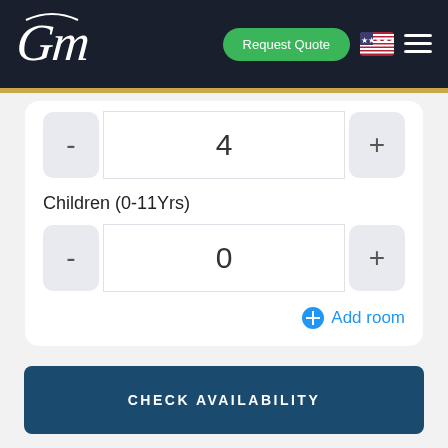[Figure (logo): GM cursive logo in white on dark navy background]
Request Quote
4
Children (0-11Yrs)
0
Add room
CHECK AVAILABILITY